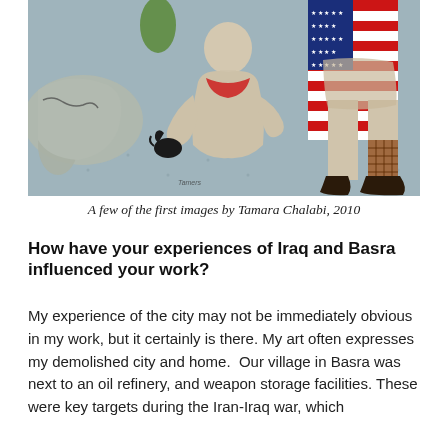[Figure (illustration): A painting showing several figures including a nude figure in the center with a hand reaching out, an American flag with red and white stripes visible on the right side, and various other painted forms on a bluish-grey background.]
A few of the first images by Tamara Chalabi, 2010
How have your experiences of Iraq and Basra influenced your work?
My experience of the city may not be immediately obvious in my work, but it certainly is there. My art often expresses my demolished city and home.  Our village in Basra was next to an oil refinery, and weapon storage facilities. These were key targets during the Iran-Iraq war, which